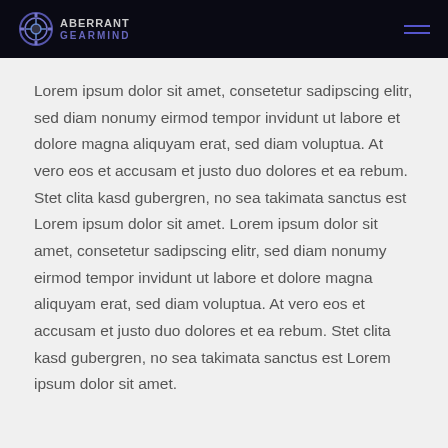ABERRANT GEARMIND
Lorem ipsum dolor sit amet, consetetur sadipscing elitr, sed diam nonumy eirmod tempor invidunt ut labore et dolore magna aliquyam erat, sed diam voluptua. At vero eos et accusam et justo duo dolores et ea rebum. Stet clita kasd gubergren, no sea takimata sanctus est Lorem ipsum dolor sit amet. Lorem ipsum dolor sit amet, consetetur sadipscing elitr, sed diam nonumy eirmod tempor invidunt ut labore et dolore magna aliquyam erat, sed diam voluptua. At vero eos et accusam et justo duo dolores et ea rebum. Stet clita kasd gubergren, no sea takimata sanctus est Lorem ipsum dolor sit amet.